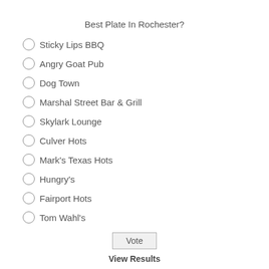Best Plate In Rochester?
Sticky Lips BBQ
Angry Goat Pub
Dog Town
Marshal Street Bar & Grill
Skylark Lounge
Culver Hots
Mark's Texas Hots
Hungry's
Fairport Hots
Tom Wahl's
Vote
View Results